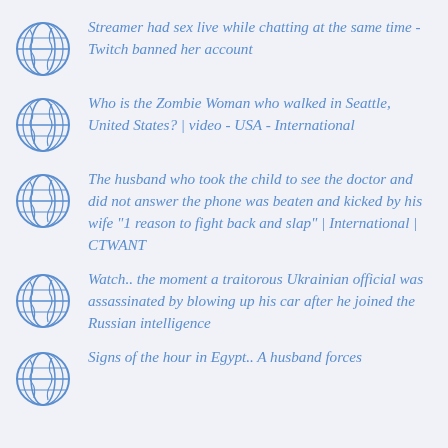Streamer had sex live while chatting at the same time - Twitch banned her account
Who is the Zombie Woman who walked in Seattle, United States? | video - USA - International
The husband who took the child to see the doctor and did not answer the phone was beaten and kicked by his wife "1 reason to fight back and slap" | International | CTWANT
Watch.. the moment a traitorous Ukrainian official was assassinated by blowing up his car after he joined the Russian intelligence
Signs of the hour in Egypt.. A husband forces